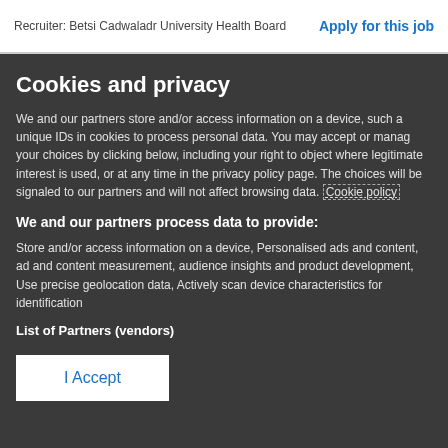Recruiter: Betsi Cadwaladr University Health Board    Apply for this job
Cookies and privacy
We and our partners store and/or access information on a device, such as unique IDs in cookies to process personal data. You may accept or manage your choices by clicking below, including your right to object where legitimate interest is used, or at any time in the privacy policy page. These choices will be signaled to our partners and will not affect browsing data. Cookie policy
We and our partners process data to provide:
Store and/or access information on a device, Personalised ads and content, ad and content measurement, audience insights and product development, Use precise geolocation data, Actively scan device characteristics for identification
List of Partners (vendors)
I Accept